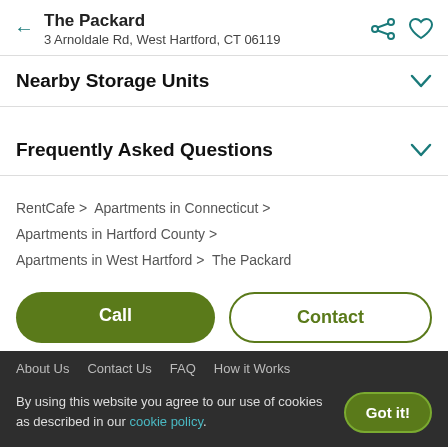The Packard
3 Arnoldale Rd, West Hartford, CT 06119
Nearby Storage Units
Frequently Asked Questions
RentCafe > Apartments in Connecticut > Apartments in Hartford County > Apartments in West Hartford > The Packard
Call | Contact
About Us  Contact Us  FAQ  How it Works
By using this website you agree to our use of cookies as described in our cookie policy.